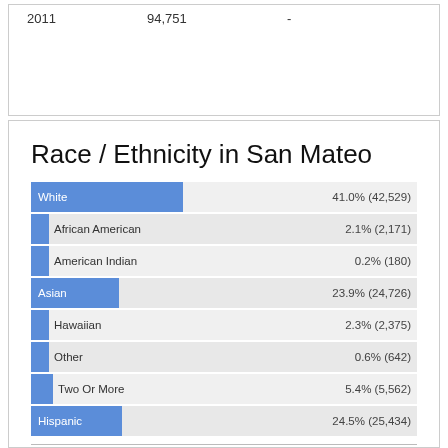|  |  |  |
| --- | --- | --- |
| 2011 | 94,751 | - |
Race / Ethnicity in San Mateo
[Figure (bar-chart): Race / Ethnicity in San Mateo]
| Race | San Mateo | CA | USA |
| --- | --- | --- | --- |